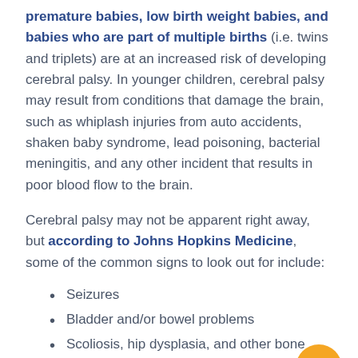premature babies, low birth weight babies, and babies who are part of multiple births (i.e. twins and triplets) are at an increased risk of developing cerebral palsy. In younger children, cerebral palsy may result from conditions that damage the brain, such as whiplash injuries from auto accidents, shaken baby syndrome, lead poisoning, bacterial meningitis, and any other incident that results in poor blood flow to the brain.
Cerebral palsy may not be apparent right away, but according to Johns Hopkins Medicine, some of the common signs to look out for include:
Seizures
Bladder and/or bowel problems
Scoliosis, hip dysplasia, and other bone abnormalities